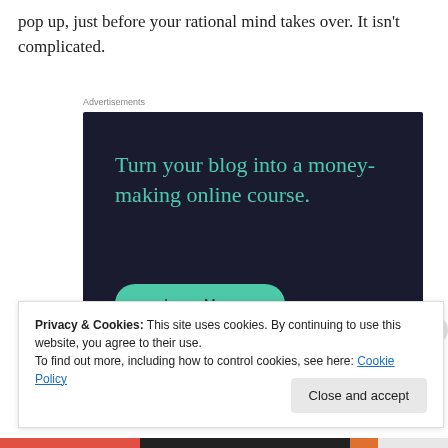pop up, just before your rational mind takes over. It isn't complicated.
Advertisements
[Figure (other): Advertisement banner with dark navy background showing text 'Turn your blog into a money-making online course.' with a teal 'Learn More' button]
Privacy & Cookies: This site uses cookies. By continuing to use this website, you agree to their use.
To find out more, including how to control cookies, see here: Cookie Policy
Close and accept